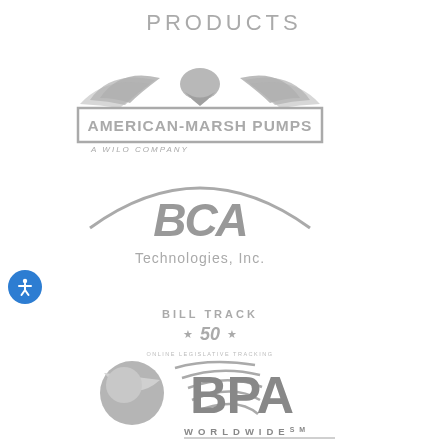PRODUCTS
[Figure (logo): American-Marsh Pumps logo with eagle wings above rectangular border text, subtitle 'A WILO COMPANY']
[Figure (logo): BCA Technologies, Inc. logo with large italic BCA text inside an oval arc]
[Figure (logo): Bill Track 50 logo with stars and swoosh lines, subtitle 'ONLINE LEGISLATIVE TRACKING']
[Figure (logo): BPA Worldwide logo with globe icon and large BPA letters, subtitle 'WORLDWIDE']